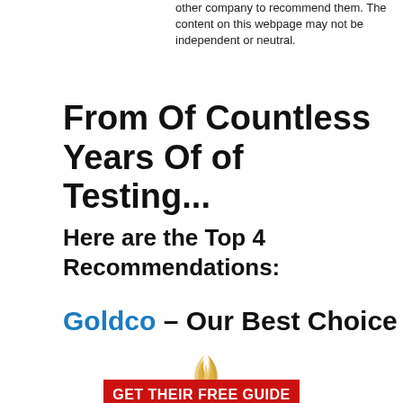other company to recommend them. The content on this webpage may not be independent or neutral.
From Of Countless Years Of of Testing...
Here are the Top 4 Recommendations:
Goldco – Our Best Choice
[Figure (logo): Goldco company logo with stylized flame/leaf icon above the word GOLDCO in bold serif capitals with registered trademark symbol]
GET THEIR FREE GUIDE